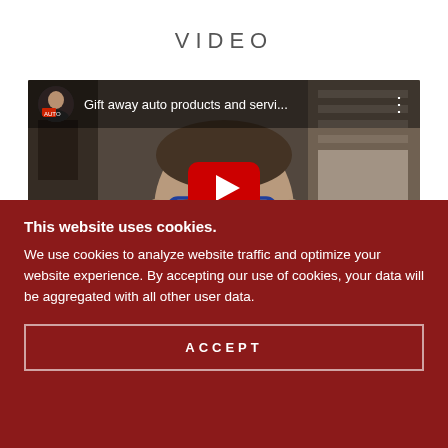VIDEO
[Figure (screenshot): YouTube video thumbnail showing a man with glasses and the title 'Gift away auto products and servi...' with a YouTube play button overlay]
This website uses cookies.
We use cookies to analyze website traffic and optimize your website experience. By accepting our use of cookies, your data will be aggregated with all other user data.
ACCEPT